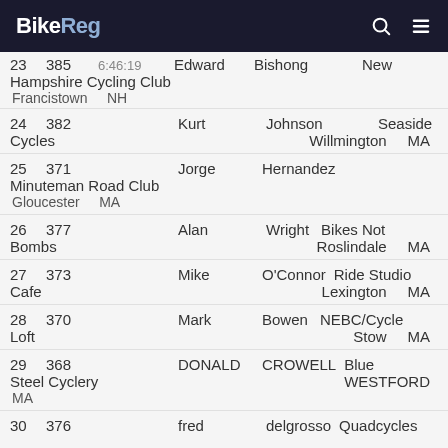BikeReg
| Place | Bib | Time | First | Last | Team | City | State |
| --- | --- | --- | --- | --- | --- | --- | --- |
| 23 | 385 | 6:46:19 | Edward | Bishong | New Hampshire Cycling Club | Francistown | NH |
| 24 | 382 |  | Kurt | Johnson | Seaside Cycles | Willmington | MA |
| 25 | 371 |  | Jorge | Hernandez | Minuteman Road Club | Gloucester | MA |
| 26 | 377 |  | Alan | Wright | Bikes Not Bombs | Roslindale | MA |
| 27 | 373 |  | Mike | O'Connor | Ride Studio Cafe | Lexington | MA |
| 28 | 370 |  | Mark | Bowen | NEBC/Cycle Loft | Stow | MA |
| 29 | 368 |  | DONALD | CROWELL | Blue Steel Cyclery | WESTFORD | MA |
| 30 | 376 |  | fred | delgrosso | Quadcycles |  |  |